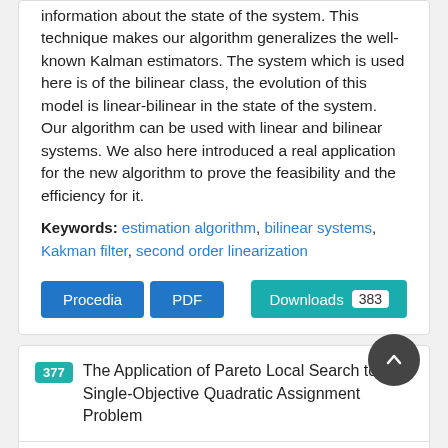information about the state of the system. This technique makes our algorithm generalizes the well-known Kalman estimators. The system which is used here is of the bilinear class, the evolution of this model is linear-bilinear in the state of the system. Our algorithm can be used with linear and bilinear systems. We also here introduced a real application for the new algorithm to prove the feasibility and the efficiency for it.
Keywords: estimation algorithm, bilinear systems, Kakman filter, second order linearization
Procedia | PDF | Downloads 383
377 The Application of Pareto Local Search to the Single-Objective Quadratic Assignment Problem
Authors: Abdullah Alsheddy